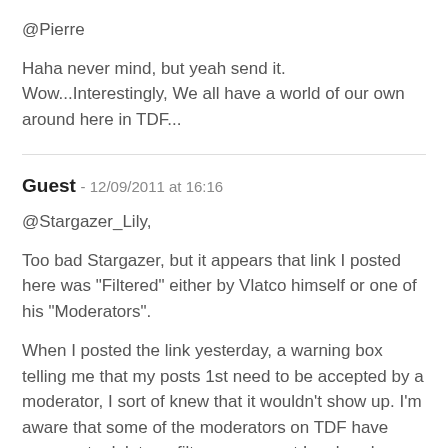@Pierre
Haha never mind, but yeah send it. Wow...Interestingly, We all have a world of our own around here in TDF...
Guest - 12/09/2011 at 16:16
@Stargazer_Lily,
Too bad Stargazer, but it appears that link I posted here was "Filtered" either by Vlatco himself or one of his "Moderators".
When I posted the link yesterday, a warning box telling me that my posts 1st need to be accepted by a moderator, I sort of knew that it wouldn't show up. I'm aware that some of the moderators on TDF have reasons to delete or filter a comment I make where there would be an "Inevitable HTML" link...